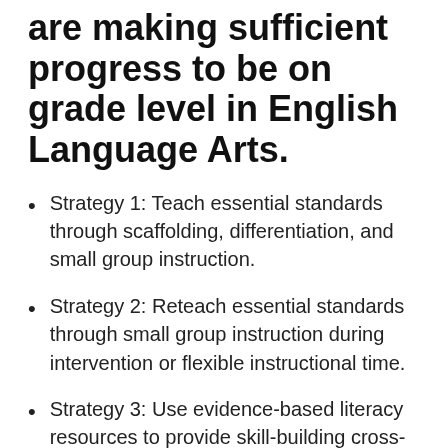are making sufficient progress to be on grade level in English Language Arts.
Strategy 1: Teach essential standards through scaffolding, differentiation, and small group instruction.
Strategy 2: Reteach essential standards through small group instruction during intervention or flexible instructional time.
Strategy 3: Use evidence-based literacy resources to provide skill-building cross-curricularly through centrally-approved resources.